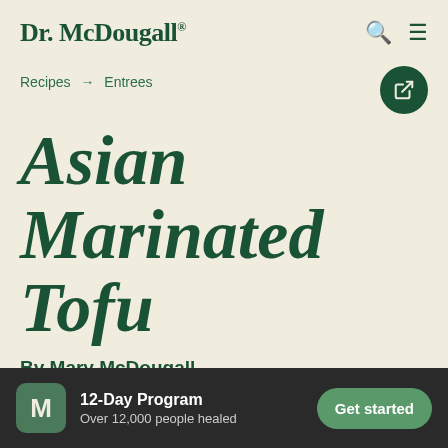Dr. McDougall®
Recipes → Entrees
Asian Marinated Tofu
By Mary McDougall
I have been doing a lot of marinated and
12-Day Program
Over 12,000 people healed
Get started